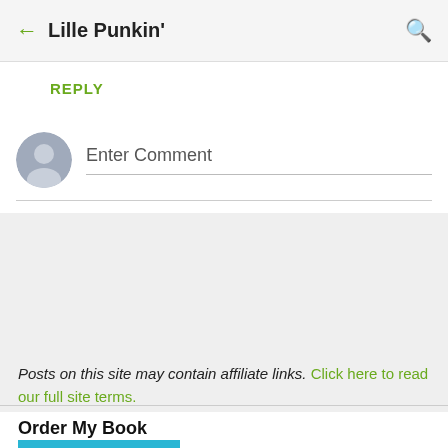← Lille Punkin'  🔍
REPLY
Enter Comment
Posts on this site may contain affiliate links. Click here to read our full site terms.
Order My Book
[Figure (photo): Book cover thumbnail with blue background and white inner page showing LINSEY KHERL author name]